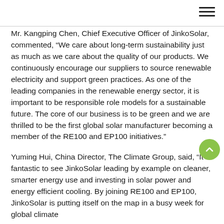(hamburger menu icon)
Mr. Kangping Chen, Chief Executive Officer of JinkoSolar, commented, “We care about long-term sustainability just as much as we care about the quality of our products. We continuously encourage our suppliers to source renewable electricity and support green practices. As one of the leading companies in the renewable energy sector, it is important to be responsible role models for a sustainable future. The core of our business is to be green and we are thrilled to be the first global solar manufacturer becoming a member of the RE100 and EP100 initiatives.”
Yuming Hui, China Director, The Climate Group, said, “It’s fantastic to see JinkoSolar leading by example on cleaner, smarter energy use and investing in solar power and energy efficient cooling. By joining RE100 and EP100, JinkoSolar is putting itself on the map in a busy week for global climate action and demonstrating what can be done. The point...